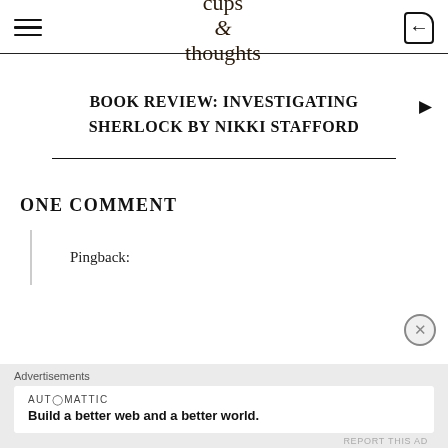cups & thoughts
BOOK REVIEW: INVESTIGATING SHERLOCK BY NIKKI STAFFORD
ONE COMMENT
Pingback:
Advertisements
AUTOMATTIC
Build a better web and a better world.